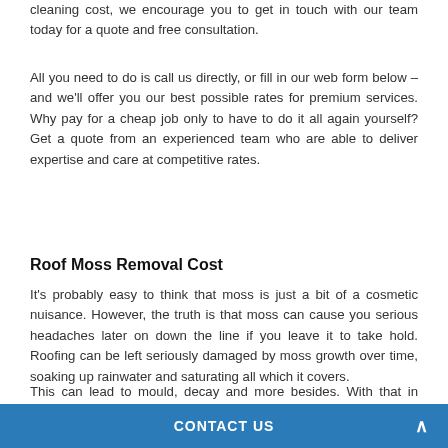cleaning cost, we encourage you to get in touch with our team today for a quote and free consultation.
All you need to do is call us directly, or fill in our web form below – and we'll offer you our best possible rates for premium services. Why pay for a cheap job only to have to do it all again yourself? Get a quote from an experienced team who are able to deliver expertise and care at competitive rates.
Roof Moss Removal Cost
It's probably easy to think that moss is just a bit of a cosmetic nuisance. However, the truth is that moss can cause you serious headaches later on down the line if you leave it to take hold. Roofing can be left seriously damaged by moss growth over time, soaking up rainwater and saturating all which it covers.
This can lead to mould, decay and more besides. With that in mind – isn't it best to take care of moss on roofing
CONTACT US